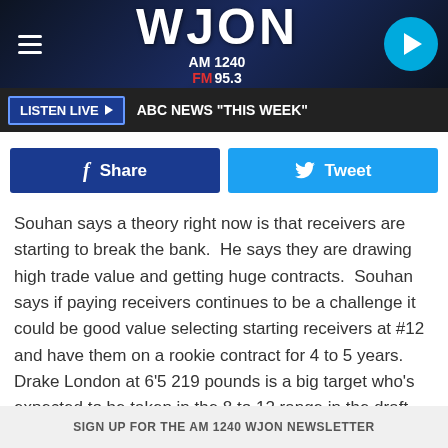WJON AM 1240 FM 95.3
LISTEN LIVE  ABC NEWS "THIS WEEK"
Share  Tweet
Souhan says a theory right now is that receivers are starting to break the bank.  He says they are drawing high trade value and getting huge contracts.  Souhan says if paying receivers continues to be a challenge it could be good value selecting starting receivers at #12 and have them on a rookie contract for 4 to 5 years.  Drake London at 6'5 219 pounds is a big target who's expected to be taken in the 8 to 12 range in the draft.
SIGN UP FOR THE AM 1240 WJON NEWSLETTER